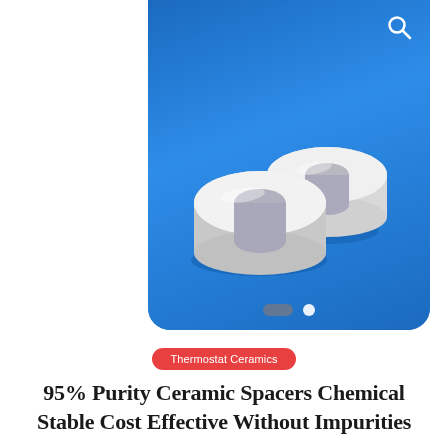[Figure (photo): Two white ceramic ring spacers (donut-shaped, with central hole and rounded profile) photographed on a bright blue background. A search/magnify icon appears in the top-right corner of the image card. Carousel dot indicators (one pill-shaped, one circular) appear at the bottom of the image.]
Thermostat Ceramics
95% Purity Ceramic Spacers Chemical Stable Cost Effective Without Impurities